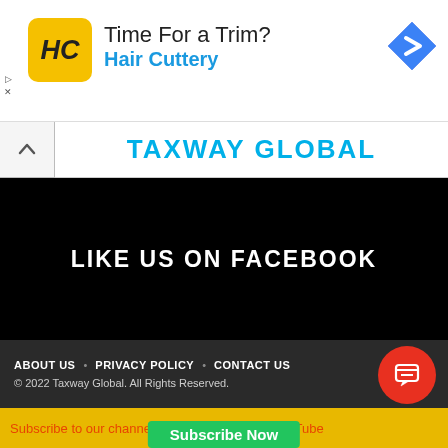[Figure (screenshot): Hair Cuttery advertisement banner with HC logo, text 'Time For a Trim?' and 'Hair Cuttery' in blue, and a blue navigation diamond icon on the right.]
TAXWAY GLOBAL
LIKE US ON FACEBOOK
ABOUT US   PRIVACY POLICY   CONTACT US
© 2022 Taxway Global. All Rights Reserved.
Subscribe to our channel "Taxway Global" on YouTube
Subscribe Now